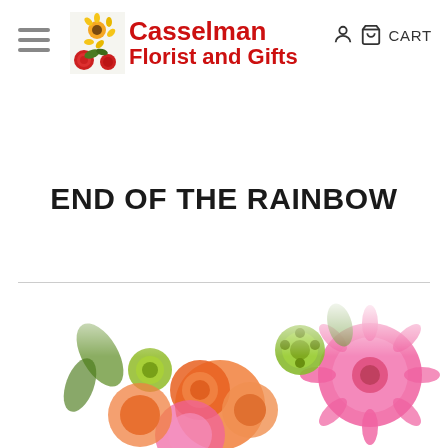[Figure (logo): Casselman Florist and Gifts logo with sunflower and roses image]
END OF THE RAINBOW
Save for Later
[Figure (photo): Colorful flower bouquet featuring orange roses, pink gerbera daisies, green button mums and other mixed flowers]